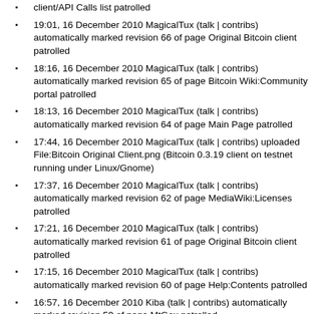client/API Calls list patrolled
19:01, 16 December 2010 MagicalTux (talk | contribs) automatically marked revision 66 of page Original Bitcoin client patrolled
18:16, 16 December 2010 MagicalTux (talk | contribs) automatically marked revision 65 of page Bitcoin Wiki:Community portal patrolled
18:13, 16 December 2010 MagicalTux (talk | contribs) automatically marked revision 64 of page Main Page patrolled
17:44, 16 December 2010 MagicalTux (talk | contribs) uploaded File:Bitcoin Original Client.png (Bitcoin 0.3.19 client on testnet running under Linux/Gnome)
17:37, 16 December 2010 MagicalTux (talk | contribs) automatically marked revision 62 of page MediaWiki:Licenses patrolled
17:21, 16 December 2010 MagicalTux (talk | contribs) automatically marked revision 61 of page Original Bitcoin client patrolled
17:15, 16 December 2010 MagicalTux (talk | contribs) automatically marked revision 60 of page Help:Contents patrolled
16:57, 16 December 2010 Kiba (talk | contribs) automatically marked revision 59 of page MtGox patrolled
16:51, 16 December 2010 Kiba (talk | contribs) automatically marked revision 58 of page MtGox patrolled